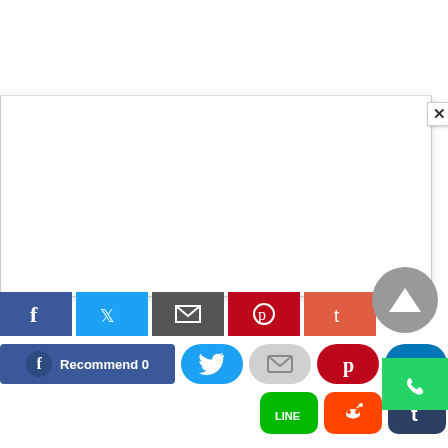[Figure (screenshot): A webpage screenshot showing a modal dialog overlay with a close (×) button in the upper right corner, and a row of social media sharing buttons at the bottom including Facebook Recommend, Twitter, Email, Pinterest, LinkedIn, Line, Reddit, Tumblr, a scroll-to-top button, and a WhatsApp button.]